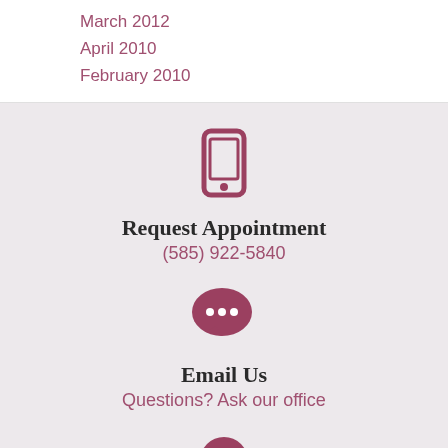March 2012
April 2010
February 2010
[Figure (illustration): Phone/mobile icon in mauve/rose color]
Request Appointment
(585) 922-5840
[Figure (illustration): Speech bubble with three dots icon in mauve/rose color]
Email Us
Questions? Ask our office
[Figure (illustration): Partial icon visible at bottom, mauve/rose color]